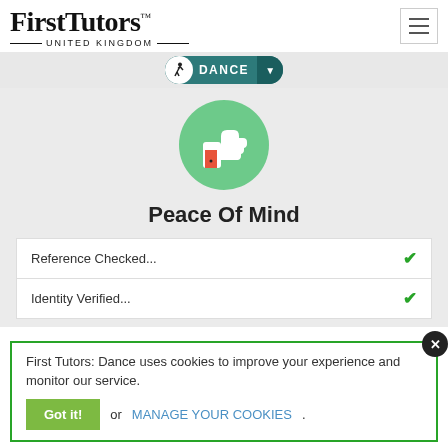[Figure (logo): First Tutors United Kingdom logo with stylized text and horizontal lines]
[Figure (other): DANCE navigation button with dance figure icon and dropdown arrow]
[Figure (illustration): Green circle with white thumbs up icon and orange/red rectangle element]
Peace Of Mind
| Reference Checked... | ✓ |
| Identity Verified... | ✓ |
First Tutors: Dance uses cookies to improve your experience and monitor our service.
Got it! or MANAGE YOUR COOKIES.